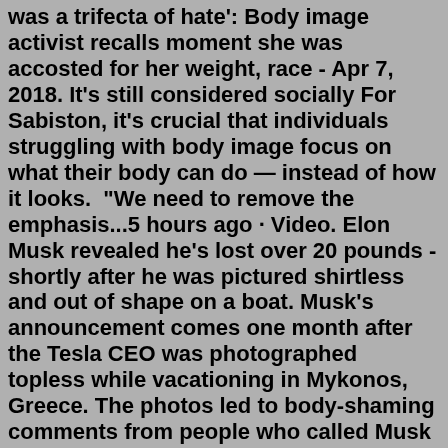was a trifecta of hate': Body image activist recalls moment she was accosted for her weight, race - Apr 7, 2018. It's still considered socially For Sabiston, it's crucial that individuals struggling with body image focus on what their body can do — instead of how it looks.  "We need to remove the emphasis...5 hours ago · Video. Elon Musk revealed he's lost over 20 pounds - shortly after he was pictured shirtless and out of shape on a boat. Musk's announcement comes one month after the Tesla CEO was photographed topless while vacationing in Mykonos, Greece. The photos led to body-shaming comments from people who called Musk 'fat' and 'pale'. The home for all your photos. Upload, access, organize, edit, and share your photos from any device, from anywhere in the world. Get 1,000GB of photo storage free.May 27, 2020 · First Published 27,May 2020, 7:00 AM. #Kesha Demi Lovato ed sheeran Halsey lil stars Priyanka Chopra Rihanna Sam Smith Selena Gomez. The struggle with body image and the constant battle people in the public eye face with their fans and their haters is no